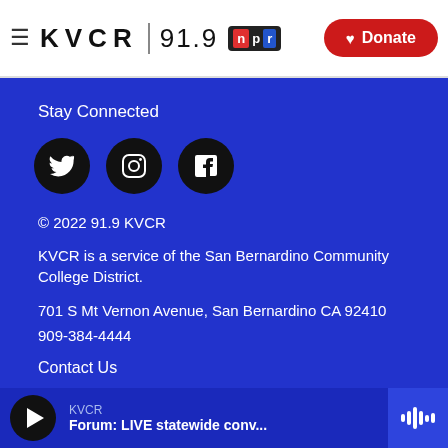KVCR 91.9 NPR — Donate
Stay Connected
[Figure (illustration): Three social media icon circles: Twitter, Instagram, Facebook]
© 2022 91.9 KVCR
KVCR is a service of the San Bernardino Community College District.
701 S Mt Vernon Avenue, San Bernardino CA 92410
909-384-4444
Contact Us
SBCCD
KVCR — Forum: LIVE statewide conv...